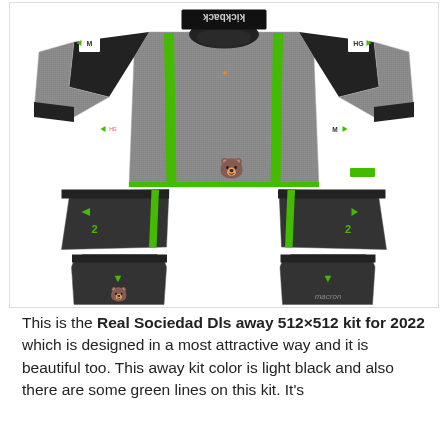[Figure (illustration): Real Sociedad DLS away kit 512x512 for 2022. A football/soccer kit template showing a dark gray (light black) jersey with green stripes and logos, plus shorts and socks sections. The kit features a Macron brand logo, a bear/club emblem in green, and sponsor logos. The jersey has green vertical stripes on the sides. Shorts shown in dark gray with green accents. Socks shown in dark gray.]
This is the Real Sociedad Dls away 512×512 kit for 2022 which is designed in a most attractive way and it is beautiful too. This away kit color is light black and also there are some green lines on this kit. It's